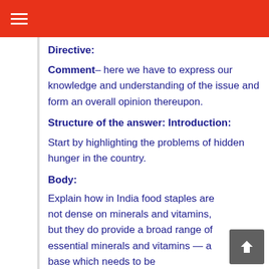Directive:
Comment– here we have to express our knowledge and understanding of the issue and form an overall opinion thereupon.
Structure of the answer:
Introduction:
Start by highlighting the problems of hidden hunger in the country.
Body:
Explain how in India food staples are not dense on minerals and vitamins, but they do provide a broad range of essential minerals and vitamins — a base which needs to be